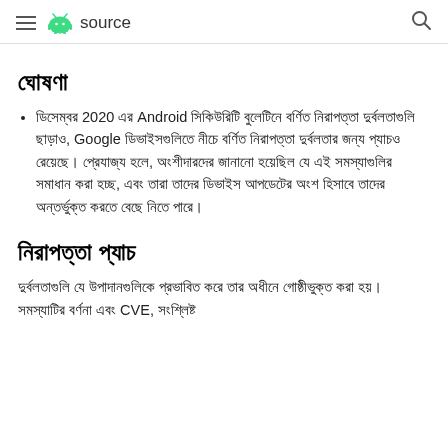≡ source
ঘোষণা
ডিসেম্বর 2020 এর Android সিকিউরিটি বুলেটিনে বর্ণিত নিরাপত্তা দুর্বলতাগুলি ছাড়াও, Google ডিভাইসগুলিতে নীচে বর্ণিত নিরাপত্তা দুর্বলতার জন্য প্যাচও রেয়েছে। প্রেযাজ্য হলে, অংশীদারদের জানানো হয়েছিল যে এই সমস্যাগুলির সমাধান করা হচ্ছ, এবং তারা তাদের ডিভাইস আপডেটের অংশ হিসাবে তাদের অন্তর্ভুক্ত করতে বেছে নিতে পারে।
নিরাপত্তা প্যাচ
দুর্বলতাগুলি যে উপাদানগুলিকে প্রভাবিত করে তার অধীনে গোষ্ঠীভুক্ত করা হয়। সমস্যাটির বর্ণনা এবং CVE, সংশ্লিষ্ট